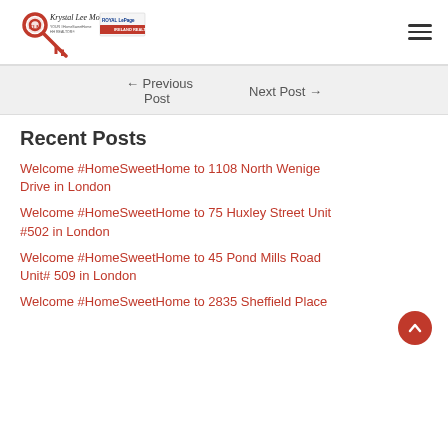Krystal Lee Moore — YOUR #HomeSweetHome HH REALTOR® — ROYAL LePAGE IRELAND REALTY
← Previous Post    Next Post →
Recent Posts
Welcome #HomeSweetHome to 1108 North Wenige Drive in London
Welcome #HomeSweetHome to 75 Huxley Street Unit #502 in London
Welcome #HomeSweetHome to 45 Pond Mills Road Unit# 509 in London
Welcome #HomeSweetHome to 2835 Sheffield Place